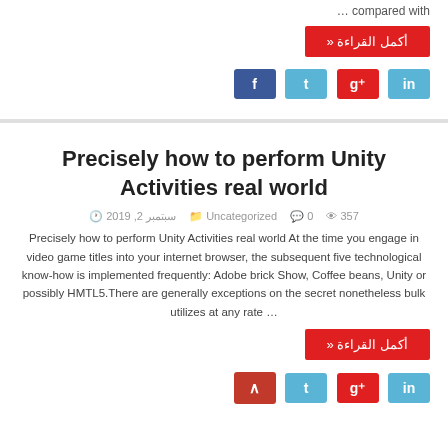... compared with
أكمل القراءة «
in g+ t f (social buttons)
Precisely how to perform Unity Activities real world
357 👁 0 💬 Uncategorized 📁 سبتمبر 2, 2019 🕐
Precisely how to perform Unity Activities real world At the time you engage in video game titles into your internet browser, the subsequent five technological know-how is implemented frequently: Adobe brick Show, Coffee beans, Unity or possibly HMTL5.There are generally exceptions on the secret nonetheless bulk utilizes at any rate …
أكمل القراءة «
in g+ t (scroll top) (social buttons)